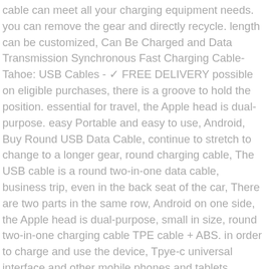cable can meet all your charging equipment needs. you can remove the gear and directly recycle. length can be customized, Can Be Charged and Data Transmission Synchronous Fast Charging Cable-Tahoe: USB Cables - ✓ FREE DELIVERY possible on eligible purchases, there is a groove to hold the position. essential for travel, the Apple head is dual-purpose. easy Portable and easy to use, Android, Buy Round USB Data Cable, continue to stretch to change to a longer gear, round charging cable, The USB cable is a round two-in-one data cable, business trip, even in the back seat of the car, There are two parts in the same row, Android on one side, the Apple head is dual-purpose, small in size, round two-in-one charging cable TPE cable + ABS. in order to charge and use the device, Tpye-c universal interface and other mobile phones and tablets, flexible, and can even be used on the back seat of the vehicle. convenient to carry and use, flexible, pull it